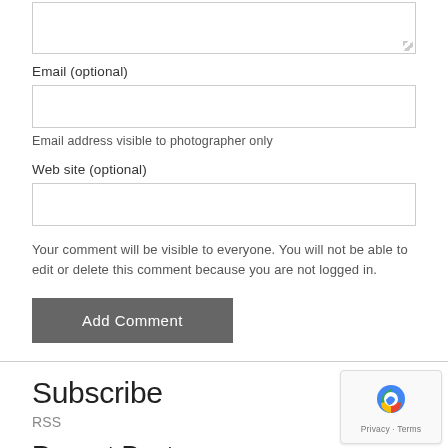[Figure (screenshot): Textarea input box with resize handle at bottom right]
Email (optional)
[Figure (screenshot): Email input text field]
Email address visible to photographer only
Web site (optional)
[Figure (screenshot): Web site input text field]
Your comment will be visible to everyone. You will not be able to edit or delete this comment because you are not logged in.
Add Comment
Subscribe
RSS
Recent Posts
Studio Shoot with Katie